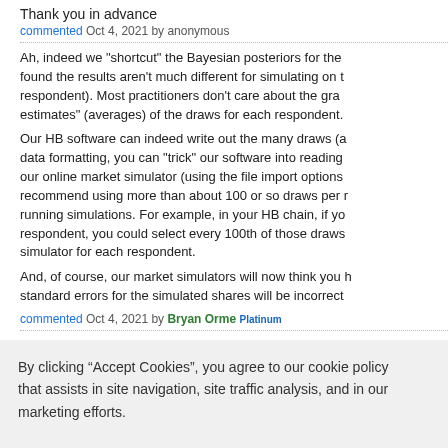Thank you in advance
commented Oct 4, 2021 by anonymous
Ah, indeed we "shortcut" the Bayesian posteriors for the found the results aren't much different for simulating on t respondent).  Most practitioners don't care about the gra estimates" (averages) of the draws for each respondent.
Our HB software can indeed write out the many draws (a data formatting, you can "trick" our software into reading our online market simulator (using the file import options recommend using more than about 100 or so draws per r running simulations.  For example, in your HB chain, if yo respondent, you could select every 100th of those draws simulator for each respondent.
And, of course, our market simulators will now think you h standard errors for the simulated shares will be incorrect
commented Oct 4, 2021 by Bryan Orme Platinum
Thank you so much for the great response! If I trick the s for a specific product for each participant, then I cannot d
commented Nov 23, 2021 by anonymous
By clicking “Accept Cookies”, you agree to our cookie policy that assists in site navigation, site traffic analysis, and in our marketing efforts.